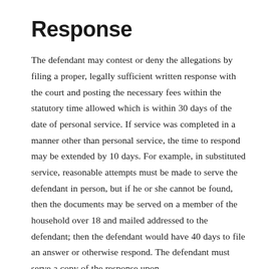Response
The defendant may contest or deny the allegations by filing a proper, legally sufficient written response with the court and posting the necessary fees within the statutory time allowed which is within 30 days of the date of personal service. If service was completed in a manner other than personal service, the time to respond may be extended by 10 days. For example, in substituted service, reasonable attempts must be made to serve the defendant in person, but if he or she cannot be found, then the documents may be served on a member of the household over 18 and mailed addressed to the defendant; then the defendant would have 40 days to file an answer or otherwise respond. The defendant must serve a copy of the response upon